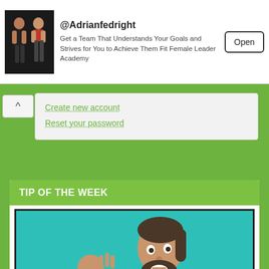[Figure (screenshot): Ad banner with fitness account @Adrianfedright showing two women in workout clothes]
@Adrianfedright
Get a Team That Understands Your Goals and Strives for You to Achieve Them Fit Female Leader Academy
Open
Create new account
Reset your password
TIP OF THE WEEK
[Figure (photo): Man in gray turtleneck making OK gesture against teal background, displayed inside a phone screen frame]